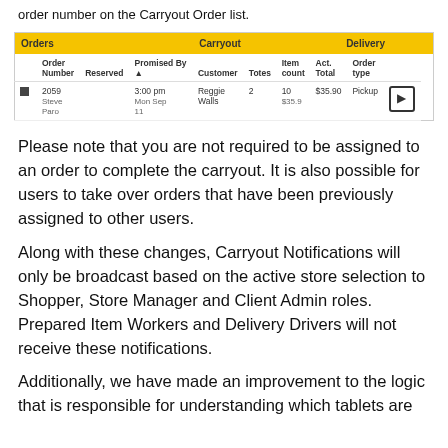order number on the Carryout Order list.
| Orders | Carryout | Delivery | Order Number | Reserved | Promised By | Customer | Totes | Item count | Act. Total | Order type |
| --- | --- | --- | --- | --- | --- | --- | --- | --- | --- | --- |
| 2059
Steve Paro |  | 3:00 pm
Mon Sep 11 | Reggie Walls | 2 | 10
$35.9 | $35.90 | Pickup |
Please note that you are not required to be assigned to an order to complete the carryout. It is also possible for users to take over orders that have been previously assigned to other users.
Along with these changes, Carryout Notifications will only be broadcast based on the active store selection to Shopper, Store Manager and Client Admin roles. Prepared Item Workers and Delivery Drivers will not receive these notifications.
Additionally, we have made an improvement to the logic that is responsible for understanding which tablets are